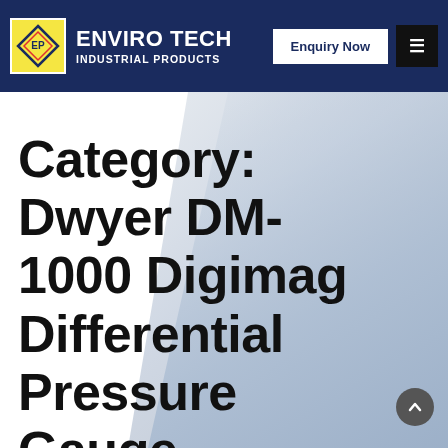ENVIRO TECH INDUSTRIAL PRODUCTS — Enquiry Now
Category: Dwyer DM-1000 Digimag Differential Pressure Gauge